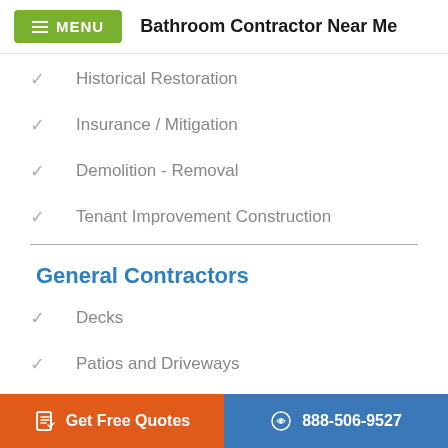MENU  Bathroom Contractor Near Me
Historical Restoration
Insurance / Mitigation
Demolition - Removal
Tenant Improvement Construction
General Contractors
Decks
Patios and Driveways
Concrete Foundations
Get Free Quotes   888-506-9527